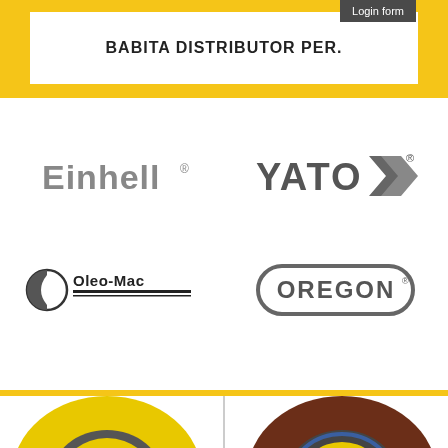Login form
BABITA DISTRIBUTOR PER.
[Figure (logo): Einhell brand logo in gray]
[Figure (logo): YATO brand logo with double chevron in gray]
[Figure (logo): Oleo-Mac brand logo with half-circle icon in dark gray]
[Figure (logo): OREGON brand logo in rounded rectangle border in gray]
[Figure (photo): Kronenflex A 24 Extra yellow abrasive cutting disc]
[Figure (photo): Kronenflex dark brown/maroon abrasive grinding disc]